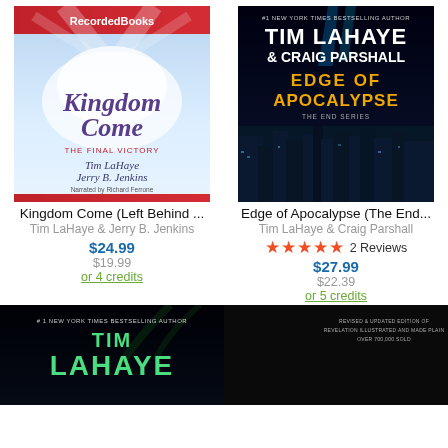[Figure (illustration): Book cover: Kingdom Come (Left Behind) by Tim LaHaye & Jerry B. Jenkins, Recorded Books audiobook, blue sky with clouds background]
[Figure (illustration): Book cover: Edge of Apocalypse (The End Series) by Tim LaHaye & Craig Parshall, dark city skyline with blue light beams]
Kingdom Come (Left Behind ...
Tim LaHaye & Jerry B. Jenkins
$24.99
$19.99
or 4 credits
Edge of Apocalypse (The End...
Tim LaHaye & Craig Parshall
★★★★★  2  Reviews
$27.99
$22.39
or 5 credits
[Figure (illustration): Book cover bottom-left: Tim LaHaye #1 New York Times Bestselling Author, dark background with green text]
[Figure (illustration): Book cover bottom-right: Revelation Illustrated and Made Plain, dark/black cover]